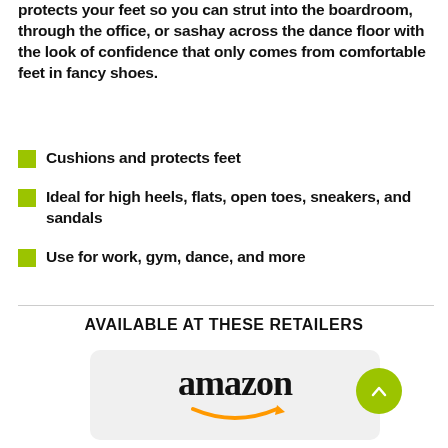protects your feet so you can strut into the boardroom, through the office, or sashay across the dance floor with the look of confidence that only comes from comfortable feet in fancy shoes.
Cushions and protects feet
Ideal for high heels, flats, open toes, sneakers, and sandals
Use for work, gym, dance, and more
AVAILABLE AT THESE RETAILERS
[Figure (logo): Amazon logo with orange smile arrow on light gray rounded rectangle background]